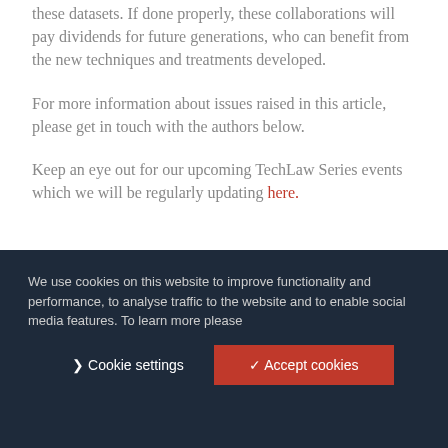start to unlock the social, scientific and economic value of these datasets. If done properly, these collaborations will pay dividends for future generations, who can benefit from the new techniques and treatments developed.
For more information about issues raised in this article, please get in touch with the authors below.
Keep an eye out for our upcoming TechLaw Series events which we will be regularly updating here.
[Figure (other): Social media share icons: Twitter, LinkedIn, Facebook with Share this label]
We use cookies on this website to improve functionality and performance, to analyse traffic to the website and to enable social media features. To learn more please
Cookie settings | Accept cookies